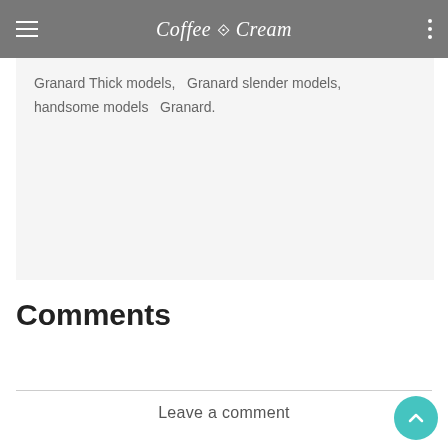Coffee & Cream
Granard Thick models,   Granard slender models,   handsome models   Granard.
Comments
Leave a comment